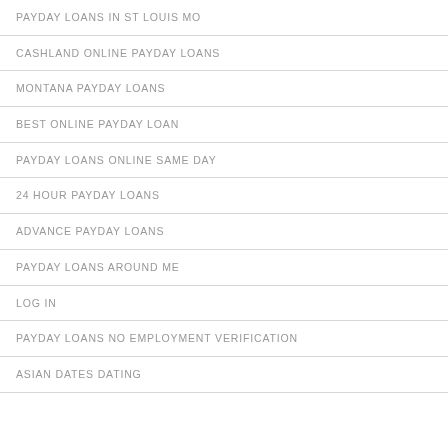PAYDAY LOANS IN ST LOUIS MO
CASHLAND ONLINE PAYDAY LOANS
MONTANA PAYDAY LOANS
BEST ONLINE PAYDAY LOAN
PAYDAY LOANS ONLINE SAME DAY
24 HOUR PAYDAY LOANS
ADVANCE PAYDAY LOANS
PAYDAY LOANS AROUND ME
LOG IN
PAYDAY LOANS NO EMPLOYMENT VERIFICATION
ASIAN DATES DATING